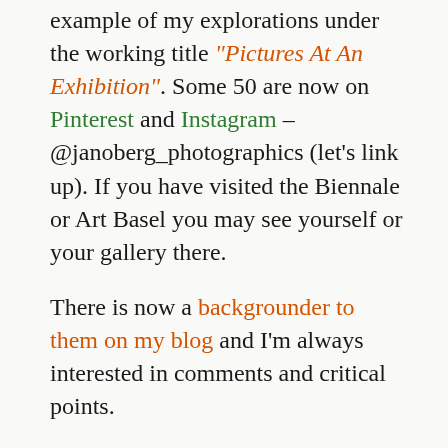example of my explorations under the working title "Pictures At An Exhibition". Some 50 are now on Pinterest and Instagram – @janoberg_photographics (let's link up). If you have visited the Biennale or Art Basel you may see yourself or your gallery there.
There is now a backgrounder to them on my blog and I'm always interested in comments and critical points.
You'll find my thoughts on this year's Art Basel at "Art in Basel and Art Basel 2015".
The Special Collection section (165 images) on